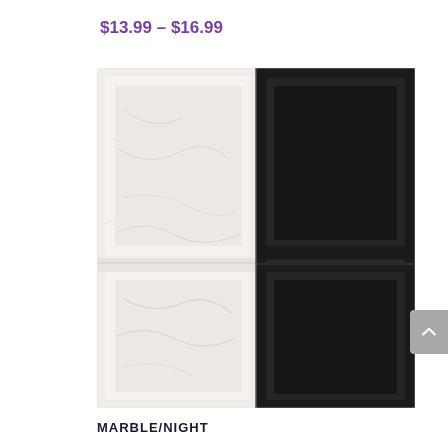$13.99 – $16.99
[Figure (photo): Split product image showing two shower niche shelves side by side: left half is white marble with gray veining and two shelf compartments; right half is matte black with two shelf compartments. The shelves appear to be recessed wall niches.]
MARBLE/NIGHT